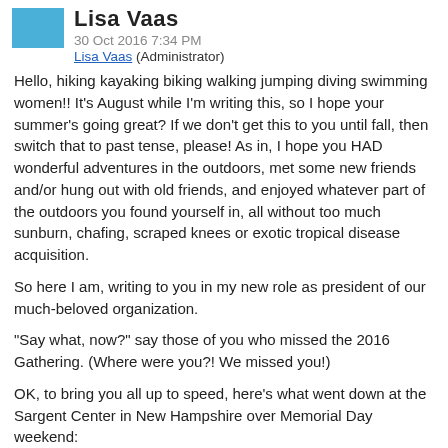Lisa Vaas — 30 Oct 2016 7:34 PM — Lisa Vaas (Administrator)
Hello, hiking kayaking biking walking jumping diving swimming women!! It's August while I'm writing this, so I hope your summer's going great? If we don't get this to you until fall, then switch that to past tense, please! As in, I hope you HAD wonderful adventures in the outdoors, met some new friends and/or hung out with old friends, and enjoyed whatever part of the outdoors you found yourself in, all without too much sunburn, chafing, scraped knees or exotic tropical disease acquisition.
So here I am, writing to you in my new role as president of our much-beloved organization.
"Say what, now?" say those of you who missed the 2016 Gathering. (Where were you?! We missed you!)
OK, to bring you all up to speed, here's what went down at the Sargent Center in New Hampshire over Memorial Day weekend:
1. The board met without a president. We knew that was coming, as our former president, leader extraordinaire Kim Otis, had already let us know she was stepping down. (Please also add a few small letters of gratitude to Kim — former president)